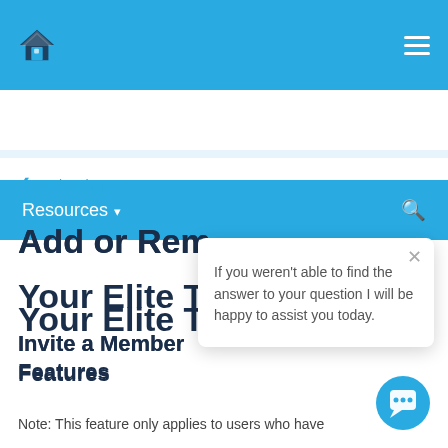Resources
< Back to home
Add or Remove Members to Your Elite Team
Invite a Member to Access Pro Features
Note: This feature only applies to users who have
If you weren't able to find the answer to your question I will be happy to assist you today.